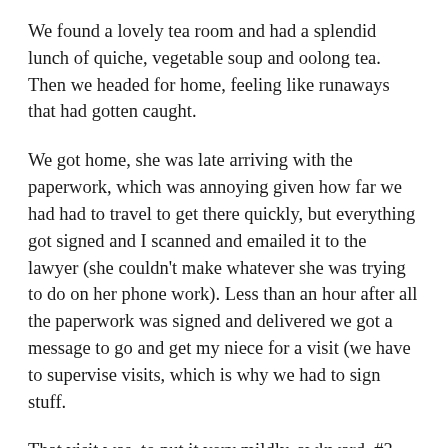We found a lovely tea room and had a splendid lunch of quiche, vegetable soup and oolong tea. Then we headed for home, feeling like runaways that had gotten caught.
We got home, she was late arriving with the paperwork, which was annoying given how far we had had to travel to get there quickly, but everything got signed and I scanned and emailed it to the lawyer (she couldn't make whatever she was trying to do on her phone work). Less than an hour after all the paperwork was signed and delivered we got a message to go and get my niece for a visit (we have to supervise visits, which is why we had to sign stuff.
That visit was, to put it very mildly, awkward. #3 was a palpable bundle of pent up emotion and I think my niece found it a bit off-putting. She has patterns of playing with me and the dogs that she enjoyed from when I took care of her in the past and became the most/part of the most they needed to make things